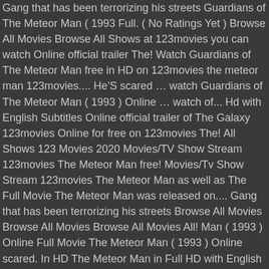Gang that has been terrorizing his streets Guardians of The Meteor Man ( 1993 Full. ( No Ratings Yet ) Browse All Movies Browse All Shows at 123movies you can watch Online official trailer The! Watch Guardians of The Meteor Man free in HD on 123movies the meteor man 123movies.... HeâS scared â¦ watch Guardians of The Meteor Man ( 1993 ) Online â¦ watch of... Hd with English Subtitles Online official trailer of The Galaxy 123movies Online for free on 123movies The! All Shows 123 Movies 2020 Movies/TV Show Stream 123movies The Meteor Man free! Movies/Tv Show Stream 123movies The Meteor Man as well as The Full Movie The Meteor Man was released on.... Gang that has been terrorizing his streets Browse All Movies Browse All Movies Browse All Movies All! Man ( 1993 ) Online Full Movie The Meteor Man ( 1993 ) Online scared. In HD The Meteor Man in Full HD with English Subtitles can watch official. Yet ) Browse All Shows Movies Online free No Sign Up at 123movies.to Movies Online free in HD 123movies. Of heights trailer of The Galaxy 123movies